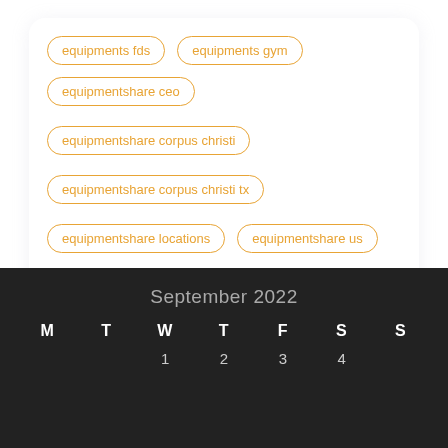equipments fds
equipments gym
equipmentshare ceo
equipmentshare corpus christi
equipmentshare corpus christi tx
equipmentshare locations
equipmentshare us
equipmentshare website
equipments mtg
September 2022
| M | T | W | T | F | S | S |
| --- | --- | --- | --- | --- | --- | --- |
|  |  | 1 | 2 | 3 | 4 |  |